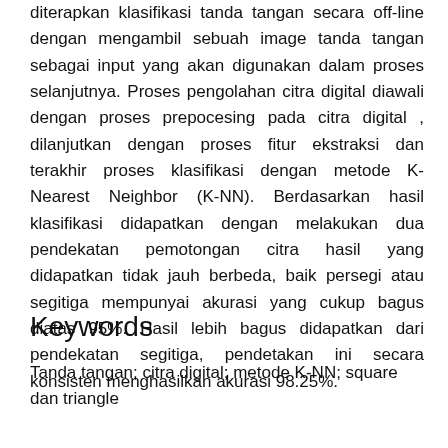diterapkan klasifikasi tanda tangan secara off-line dengan mengambil sebuah image tanda tangan sebagai input yang akan digunakan dalam proses selanjutnya. Proses pengolahan citra digital diawali dengan proses prepocesing pada citra digital , dilanjutkan dengan proses fitur ekstraksi dan terakhir proses klasifikasi dengan metode K-Nearest Neighbor (K-NN). Berdasarkan hasil klasifikasi didapatkan dengan melakukan dua pendekatan pemotongan citra hasil yang didapatkan tidak jauh berbeda, baik persegi atau segitiga mempunyai akurasi yang cukup bagus diatas 95%. Hasil lebih bagus didapatkan dari pendekatan segitiga, pendetakan ini secara konsisten menghasilkan akurasi 98.25%.
Keywords
Tanda tangan; citra digital; metode K-NN; square dan triangle